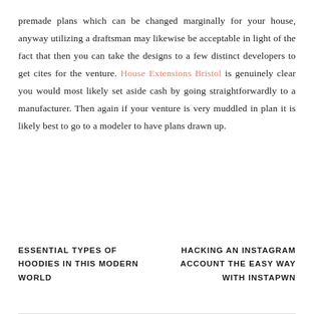premade plans which can be changed marginally for your house, anyway utilizing a draftsman may likewise be acceptable in light of the fact that then you can take the designs to a few distinct developers to get cites for the venture. House Extensions Bristol is genuinely clear you would most likely set aside cash by going straightforwardly to a manufacturer. Then again if your venture is very muddled in plan it is likely best to go to a modeler to have plans drawn up.
ESSENTIAL TYPES OF HOODIES IN THIS MODERN WORLD
HACKING AN INSTAGRAM ACCOUNT THE EASY WAY WITH INSTAPWN